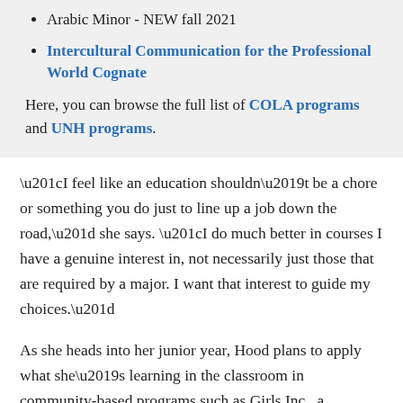Arabic Minor - NEW fall 2021
Intercultural Communication for the Professional World Cognate
Here, you can browse the full list of COLA programs and UNH programs.
“I feel like an education shouldn’t be a chore or something you do just to line up a job down the road,” she says. “I do much better in courses I have a genuine interest in, not necessarily just those that are required by a major. I want that interest to guide my choices.”
As she heads into her junior year, Hood plans to apply what she’s learning in the classroom in community-based programs such as Girls Inc., a nonprofit which helps girls develop self-